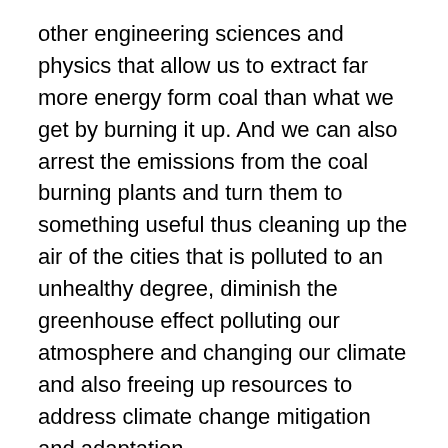other engineering sciences and physics that allow us to extract far more energy form coal than what we get by burning it up. And we can also arrest the emissions from the coal burning plants and turn them to something useful thus cleaning up the air of the cities that is polluted to an unhealthy degree, diminish the greenhouse effect polluting our atmosphere and changing our climate and also freeing up resources to address climate change mitigation and adaptation.
US and California in particular already boast a world-class Renewable Energy industry with many inventions like solar cells and photosynthesis nanotechnology taking place right here in California, along with many other ground breaking and pioneering efforts that promise to make low-carbon technology continuously more affordable and available to all.